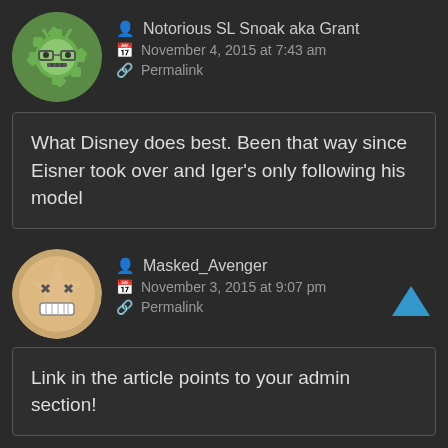Notorious SL Snoak aka Grant
November 4, 2015 at 7:43 am
Permalink
What Disney does best. Been that way since Eisner took over and Iger's only following his model
Masked_Avenger
November 3, 2015 at 9:07 pm
Permalink
Link in the article points to your admin section!
Scott